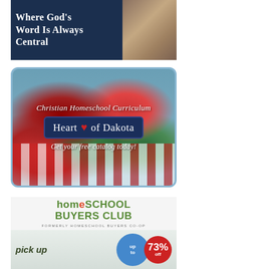[Figure (illustration): Advertisement banner with dark navy background showing text 'Where God's Word is Always Central' in white serif font, with a figure wearing a plaid/checkered shirt on the right side.]
[Figure (illustration): Heart of Dakota Christian Homeschool Curriculum advertisement. Light blue rounded rectangle border, colorful background showing red/white checkered pattern and green foliage, text 'Christian Homeschool Curriculum' in white italic script at top, navy blue rounded box with 'Heart of Dakota' text and red heart symbol in center, white italic 'Get your free catalog today!' text at bottom.]
[Figure (illustration): Homeschool Buyers Club advertisement (formerly Homeschool Buyers Co-op). Green and red logo with 'homeSCHOOL BUYERS CLUB' text. Bottom section shows 'pick up' text with savings badges: blue circle 'up to' and red circle '73% off'.]